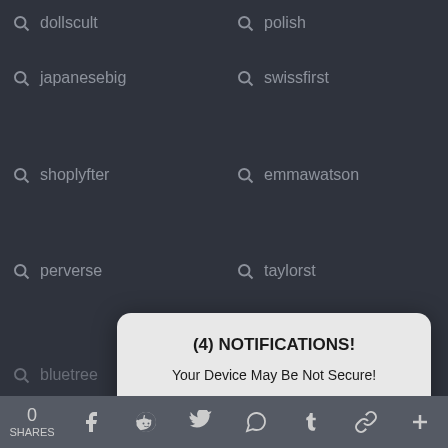[Figure (screenshot): Mobile browser search suggestions list on dark background showing search terms in two columns with magnifying glass icons: dollscult, polish, japanesebig, swissfirst, shoplyfter, emmawatson, perverse, taylorst, bluetree, [partially hidden], transcientei, hentai, virgin, 2008, kagney, olagay, limp, do, main, bigass]
[Figure (screenshot): iOS-style alert dialog popup with light gray background, bold title '(4) NOTIFICATIONS!', body text 'Your Device May Be Not Secure!', and two buttons: CANCEL (left) and OK (right) both in blue]
[Figure (screenshot): Bottom share bar with 0 SHARES label and social media icons: Facebook, Reddit, Twitter, WhatsApp, Tumblr, chain link, plus]